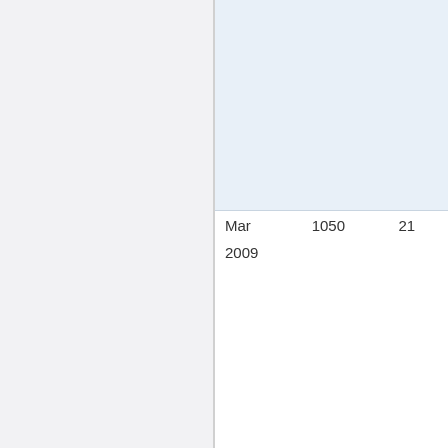[Figure (other): Light blue shaded chart area (partial view, top portion of a financial chart)]
| Mar 2009 | 1050 | 21 |